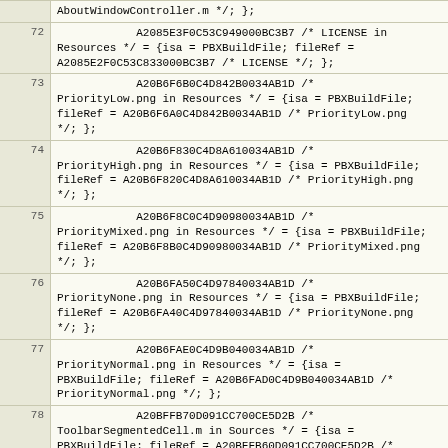| line | code |
| --- | --- |
| 72 | A2085E3F0C53C949000BC3B7 /* LICENSE in Resources */ = {isa = PBXBuildFile; fileRef = A2085E2F0C53C833000BC3B7 /* LICENSE */; }; |
| 73 | A20B6F6B0C4D842B0034AB1D /* PriorityLow.png in Resources */ = {isa = PBXBuildFile; fileRef = A20B6F6A0C4D842B0034AB1D /* PriorityLow.png */; }; |
| 74 | A20B6F830C4D8A610034AB1D /* PriorityHigh.png in Resources */ = {isa = PBXBuildFile; fileRef = A20B6F820C4D8A610034AB1D /* PriorityHigh.png */; }; |
| 75 | A20B6F8C0C4D90980034AB1D /* PriorityMixed.png in Resources */ = {isa = PBXBuildFile; fileRef = A20B6F8B0C4D90980034AB1D /* PriorityMixed.png */; }; |
| 76 | A20B6FA50C4D97840034AB1D /* PriorityNone.png in Resources */ = {isa = PBXBuildFile; fileRef = A20B6FA40C4D97840034AB1D /* PriorityNone.png */; }; |
| 77 | A20B6FAE0C4D9B040034AB1D /* PriorityNormal.png in Resources */ = {isa = PBXBuildFile; fileRef = A20B6FAD0C4D9B040034AB1D /* PriorityNormal.png */; }; |
| 78 | A20BFFB70D091CC700CE5D2B /* ToolbarSegmentedCell.m in Sources */ = {isa = PBXBuildFile; fileRef = A20BFFB60D091CC700CE5D2B /* ToolbarSegmentedCell.m */; }; |
| 79 | A21282A80CA6C66800EAEE0F /* StatusBarView.m in Sources */ = {isa = PBXBuildFile; fileRef = A21282A60CA6C66800EAEE0F /* StatusBarView.m */; }; |
| 80 | A215760B0C0D449A0057A26A /* NSBezierPathAdditions.m in Sources */ = {isa = PBXBuildFile; fileRef = A21576090C0D449A0057A26A /* NSBezierPathAdditions.m */; }; |